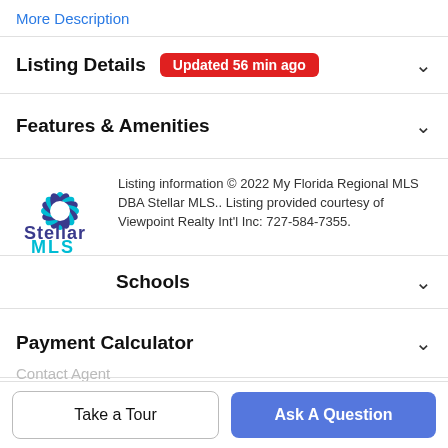More Description
Listing Details  Updated 56 min ago
Features & Amenities
[Figure (logo): Stellar MLS logo — star-burst icon in teal and purple, with text 'Stellar MLS' below]
Listing information © 2022 My Florida Regional MLS DBA Stellar MLS.. Listing provided courtesy of Viewpoint Realty Int'l Inc: 727-584-7355.
Schools
Payment Calculator
Contact Agent
Take a Tour
Ask A Question